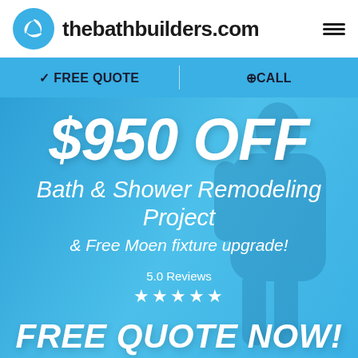thebathbuilders.com
✓ FREE QUOTE
⊕CALL
$950 OFF
Bath & Shower Remodeling Project
& Free Moen fixture upgrade!
5.0 Reviews ★★★★★
FREE QUOTE NOW!